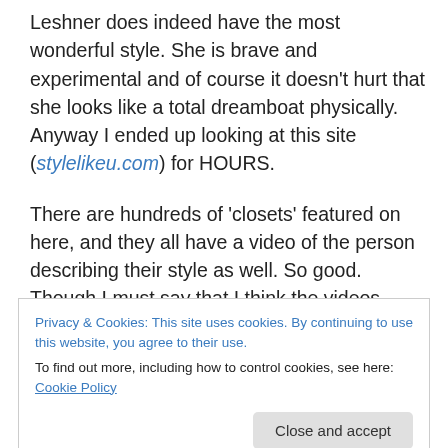Leshner does indeed have the most wonderful style. She is brave and experimental and of course it doesn't hurt that she looks like a total dreamboat physically. Anyway I ended up looking at this site (stylelikeu.com) for HOURS.

There are hundreds of 'closets' featured on here, and they all have a video of the person describing their style as well. So good. Though I must say that I think the videos destroyed some of the fantasy about people's personality for me.  Here's a couple of my
Privacy & Cookies: This site uses cookies. By continuing to use this website, you agree to their use.
To find out more, including how to control cookies, see here: Cookie Policy
[Figure (photo): Partial image of a person visible at the bottom of the page]